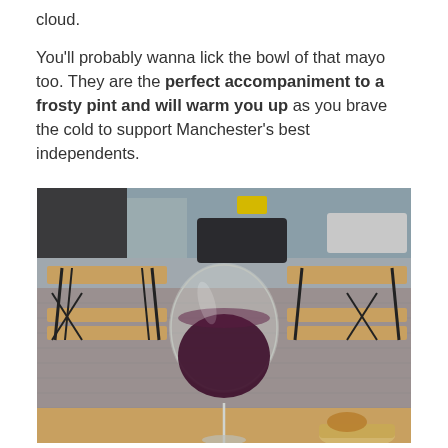cloud.
You'll probably wanna lick the bowl of that mayo too. They are the perfect accompaniment to a frosty pint and will warm you up as you brave the cold to support Manchester's best independents.
[Figure (photo): Outdoor beer garden seating area with wooden picnic-style tables and benches on a cobblestone patio. A glass of red wine is prominently shown in the foreground on a wooden table, with a small bowl of food beside it. City street and buildings visible in the background.]